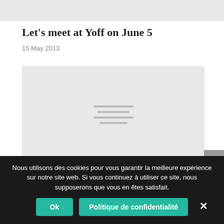[Figure (other): Grey placeholder image at top of page]
Let's meet at Yoff on June 5
15 May 2013
[Figure (other): Grey placeholder image with loading line indicators in center]
Nous utilisons des cookies pour vous garantir la meilleure expérience sur notre site web. Si vous continuez à utiliser ce site, nous supposerons que vous en êtes satisfait.